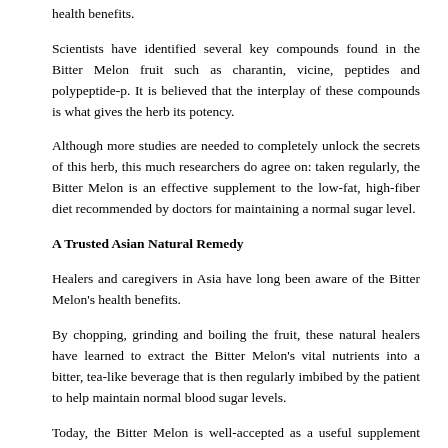since as early as the 1970s, scientific research conducted in many countries has supported the traditional belief in the Bitter Melon's health benefits.
Scientists have identified several key compounds found in the Bitter Melon fruit such as charantin, vicine, peptides and polypeptide-p. It is believed that the interplay of these compounds is what gives the herb its potency.
Although more studies are needed to completely unlock the secrets of this herb, this much researchers do agree on: taken regularly, the Bitter Melon is an effective supplement to the low-fat, high-fiber diet recommended by doctors for maintaining a normal sugar level.
A Trusted Asian Natural Remedy
Healers and caregivers in Asia have long been aware of the Bitter Melon's health benefits.
By chopping, grinding and boiling the fruit, these natural healers have learned to extract the Bitter Melon's vital nutrients into a bitter, tea-like beverage that is then regularly imbibed by the patient to help maintain normal blood sugar levels.
Today, the Bitter Melon is well-accepted as a useful supplement and is readily available in many commercial variants all over the world. Whether taken as tea or in capsules, with Charantea, you're sure you get only 100% Bitter Melon to supplement your daily diet.